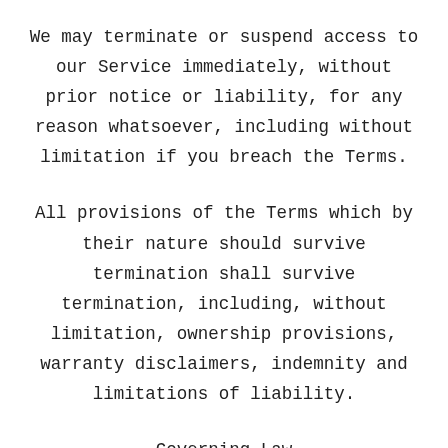We may terminate or suspend access to our Service immediately, without prior notice or liability, for any reason whatsoever, including without limitation if you breach the Terms.
All provisions of the Terms which by their nature should survive termination shall survive termination, including, without limitation, ownership provisions, warranty disclaimers, indemnity and limitations of liability.
Governing Law
These Terms shall be governed and construed in accordance with the laws of New Mexico, United